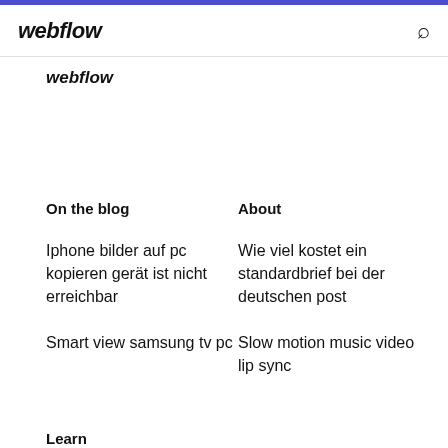webflow
webflow
On the blog
About
Iphone bilder auf pc kopieren gerät ist nicht erreichbar
Wie viel kostet ein standardbrief bei der deutschen post
Smart view samsung tv pc
Slow motion music video lip sync
Learn